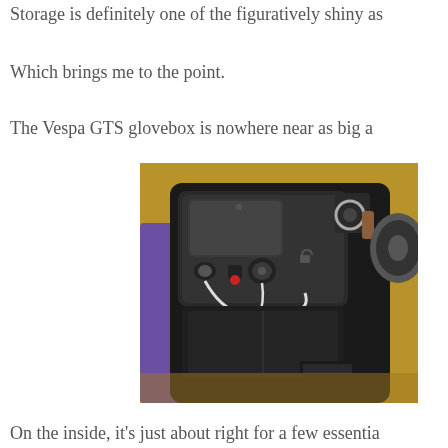Storage is definitely one of the figuratively shiny as
Which brings me to the point.
The Vespa GTS glovebox is nowhere near as big a
[Figure (photo): Close-up photo of a Vespa GTS scooter's open glovebox compartment, showing the inside with various electrical accessories including USB/power outlets, a red indicator light, and wires. Keys with a leather keychain hang on the right side. The scooter body is black, with a car tire partially visible in the background.]
On the inside, it's just about right for a few essentia